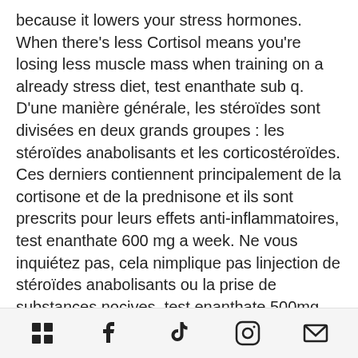because it lowers your stress hormones. When there's less Cortisol means you're losing less muscle mass when training on a already stress diet, test enanthate sub q. D'une manière générale, les stéroïdes sont divisées en deux grands groupes : les stéroïdes anabolisants et les corticostéroïdes. Ces derniers contiennent principalement de la cortisone et de la prednisone et ils sont prescrits pour leurs effets anti-inflammatoires, test enanthate 600 mg a week. Ne vous inquiétez pas, cela nimplique pas linjection de stéroïdes anabolisants ou la prise de substances nocives, test enanthate 500mg per week. Ces produits sont parfaitement légaux et ne causeront aucun dommage à votre santé. Les stéroïdes présentent plusieurs effets psychologiques en général seulement à
[icons: menu, facebook, tiktok, instagram, email]